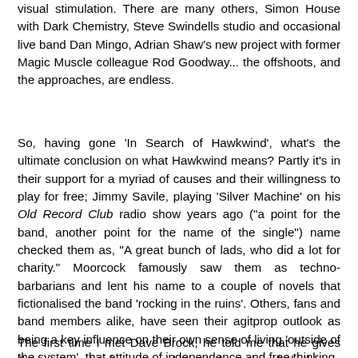visual stimulation. There are many others, Simon House with Dark Chemistry, Steve Swindells studio and occasional live band Dan Mingo, Adrian Shaw's new project with former Magic Muscle colleague Rod Goodway... the offshoots, and the approaches, are endless.
So, having gone 'In Search of Hawkwind', what's the ultimate conclusion on what Hawkwind means? Partly it's in their support for a myriad of causes and their willingness to play for free; Jimmy Savile, playing 'Silver Machine' on his Old Record Club radio show years ago ("a point for the band, another point for the name of the single") name checked them as, "A great bunch of lads, who did a lot for charity." Moorcock famously saw them as techno-barbarians and lent his name to a couple of novels that fictionalised the band 'rocking in the ruins'. Others, fans and band members alike, have seen their agitprop outlook as being a key influence on their own sense of living 'outside of the system', that attitude of independence and free thinking.
The first time I met Dave Brock, he told me that he gives "huge amounts of money and time to keep the whole thing